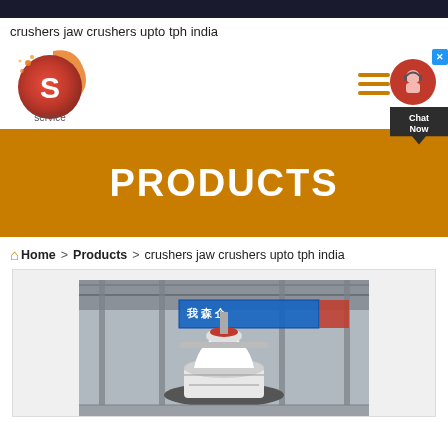crushers jaw crushers upto tph india
[Figure (logo): Red and orange gradient circular logo with letter S and text 'service' below]
PRODUCTS
Home > Products > crushers jaw crushers upto tph india
[Figure (photo): Industrial crusher machine (cone crusher) in a factory/warehouse setting with Chinese text banner visible in background]